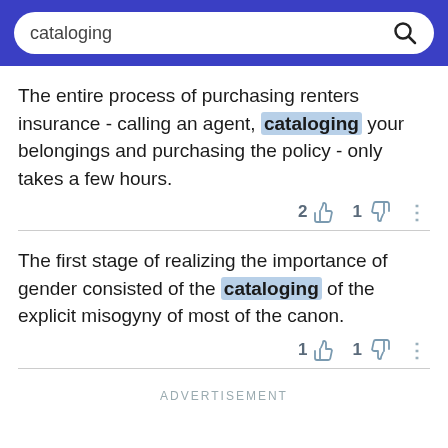[Figure (screenshot): Search bar with blue background showing the query 'cataloging' and a search icon on the right]
The entire process of purchasing renters insurance - calling an agent, cataloging your belongings and purchasing the policy - only takes a few hours.
2 [thumbs up] 1 [thumbs down] ...
The first stage of realizing the importance of gender consisted of the cataloging of the explicit misogyny of most of the canon.
1 [thumbs up] 1 [thumbs down] ...
ADVERTISEMENT